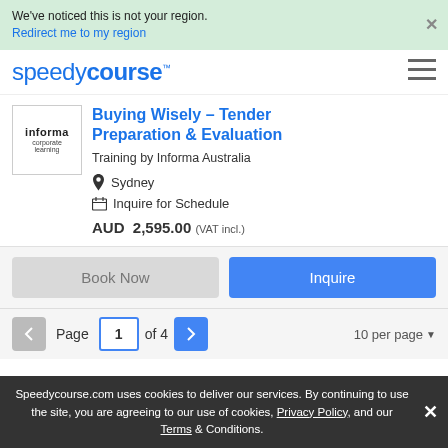We've noticed this is not your region. Redirect me to my region
speedycourse
Buying Wisely – Tender Preparation & Evaluation
Training by Informa Australia
Sydney
Inquire for Schedule
AUD 2,595.00 (VAT incl.)
Book Now | Inquire
Page 1 of 4   10 per page
Speedycourse.com uses cookies to deliver our services. By continuing to use the site, you are agreeing to our use of cookies, Privacy Policy, and our Terms & Conditions.